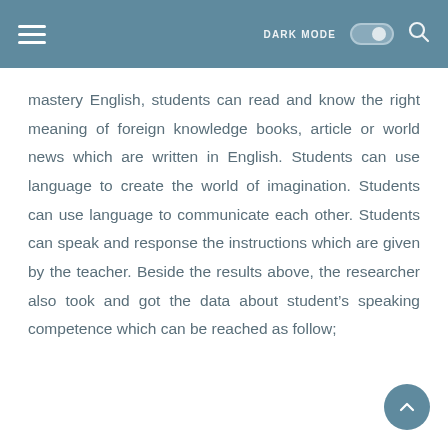DARK MODE [toggle] [search]
mastery English, students can read and know the right meaning of foreign knowledge books, article or world news which are written in English. Students can use language to create the world of imagination. Students can use language to communicate each other. Students can speak and response the instructions which are given by the teacher. Beside the results above, the researcher also took and got the data about student's speaking competence which can be reached as follow;